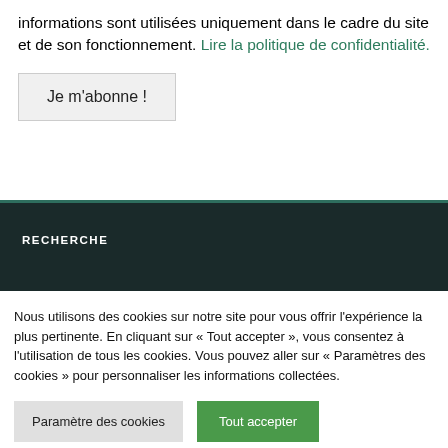informations sont utilisées uniquement dans le cadre du site et de son fonctionnement. Lire la politique de confidentialité.
Je m'abonne !
[Figure (screenshot): Dark navigation bar with search field labeled RECHERCHE]
Nous utilisons des cookies sur notre site pour vous offrir l'expérience la plus pertinente. En cliquant sur « Tout accepter », vous consentez à l'utilisation de tous les cookies. Vous pouvez aller sur « Paramètres des cookies » pour personnaliser les informations collectées.
Paramètre des cookies
Tout accepter